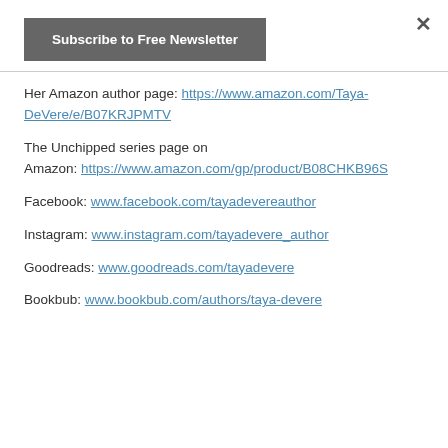Subscribe to Free Newsletter
Her Amazon author page: https://www.amazon.com/Taya-DeVere/e/B07KRJPMTV
The Unchipped series page on Amazon: https://www.amazon.com/gp/product/B08CHKB96S
Facebook: www.facebook.com/tayadevereauthor
Instagram: www.instagram.com/tayadevere_author
Goodreads: www.goodreads.com/tayadevere
Bookbub: www.bookbub.com/authors/taya-devere